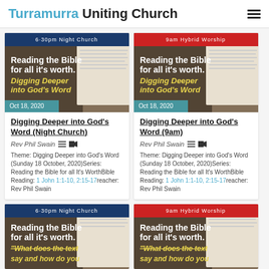Turramurra Uniting Church
[Figure (screenshot): Card image: 6:30pm Night Church - Reading the Bible for all it's worth. Digging Deeper into God's Word. Oct 18, 2020]
Digging Deeper into God's Word (Night Church)
Rev Phil Swain
Theme: Digging Deeper into God's Word (Sunday 18 October, 2020)Series: Reading the Bible for all It's WorthBible Reading: 1 John 1:1-10, 2:15-17reacher: Rev Phil Swain
[Figure (screenshot): Card image: 9am Hybrid Worship - Reading the Bible for all it's worth. Digging Deeper into God's Word. Oct 18, 2020]
Digging Deeper into God's Word (9am)
Rev Phil Swain
Theme: Digging Deeper into God's Word (Sunday 18 October, 2020)Series: Reading the Bible for all It's WorthBible Reading: 1 John 1:1-10, 2:15-17reacher: Rev Phil Swain
[Figure (screenshot): Card image: 6:30pm Night Church - Reading the Bible for all it's worth. What does the text say and how do you...]
[Figure (screenshot): Card image: 9am Hybrid Worship - Reading the Bible for all it's worth. What does the text say and how do you...]